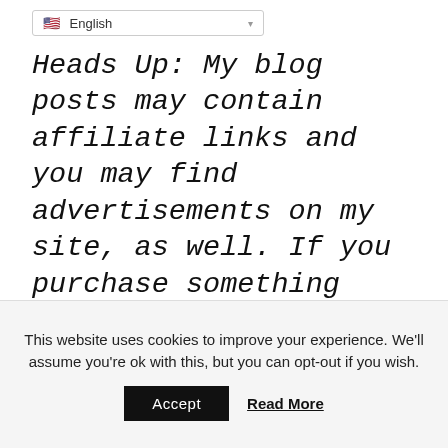English
Heads Up: My blog posts may contain affiliate links and you may find advertisements on my site, as well. If you purchase something through one of these links, you won’t pay a dime more, but I will receive a small commission, which helps me to keep this site running. Thank you for your support!
This website uses cookies to improve your experience. We’ll assume you’re ok with this, but you can opt-out if you wish.
Accept  Read More